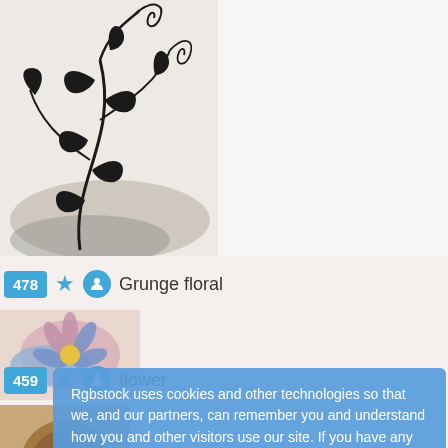[Figure (illustration): Black floral/grunge botanical illustration with swirling vines and leaves on a light background]
478 ★ Grunge floral
[Figure (photo): Close-up photo of a pink and blue/purple daisy flower]
459 ★ flower
[Figure (photo): Partial view of a coconut or round brown object at the bottom of the page]
Rgbstock uses cookies and other technologies so that we, and our partners, can remember you and understand how you and other visitors use our site. If you have any questions, please contact us or read our terms of use. Learn more
Decline
Got it!